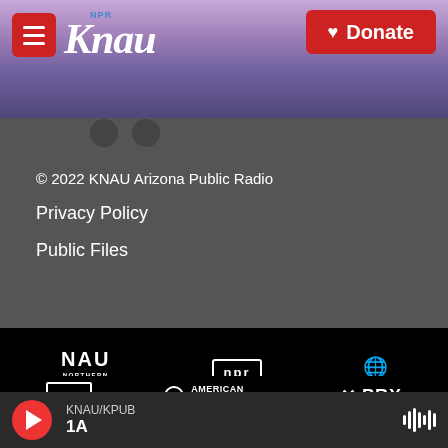KNAU NPR | Donate
© 2022 KNAU Arizona Public Radio
Privacy Policy
Public Files
[Figure (logo): Partner logos: NAU Northern Arizona University, NPR, PRI, CPB, American Public Media, PRX, BBC]
KNAU/KPUB | 1A